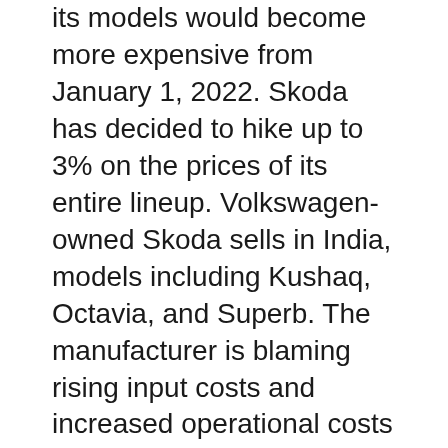its models would become more expensive from January 1, 2022. Skoda has decided to hike up to 3% on the prices of its entire lineup. Volkswagen-owned Skoda sells in India, models including Kushaq, Octavia, and Superb. The manufacturer is blaming rising input costs and increased operational costs for the proposed price hike.
Skoda's announcement of price revision comes in the same week when a few other manufacturers including Maruti Suzuki made similar announcements.
Earlier this month, Skoda Auto India had announced the start of production of all new KODIAQ in its plant in Aurangabad. The Czech manufacturer has recently been